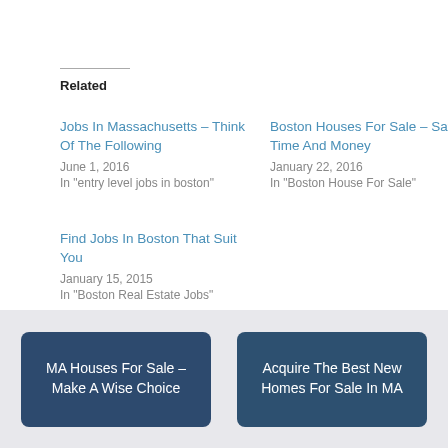Related
Jobs In Massachusetts – Think Of The Following
June 1, 2016
In "entry level jobs in boston"
Boston Houses For Sale – Save Time And Money
January 22, 2016
In "Boston House For Sale"
Find Jobs In Boston That Suit You
January 15, 2015
In "Boston Real Estate Jobs"
MA Houses For Sale – Make A Wise Choice
Acquire The Best New Homes For Sale In MA